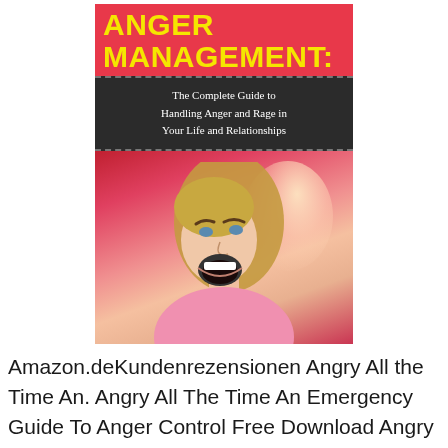[Figure (illustration): Book cover for 'Anger Management: The Complete Guide to Handling Anger and Rage in Your Life and Relationships' with yellow bold title text on red background, dark subtitle band, and a photo of an angry woman screaming]
Amazon.deKundenrezensionen Angry All the Time An. Angry All The Time An Emergency Guide To Anger Control Free Download Angry All The Time An Emergency Guide To Anger Control